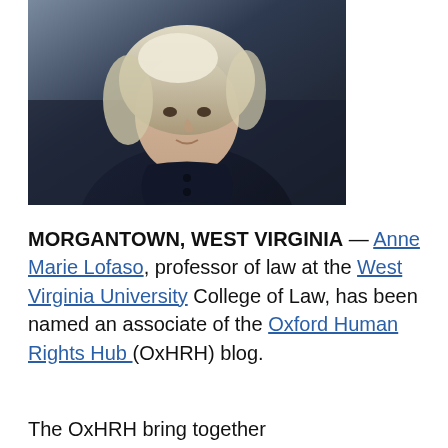[Figure (photo): Portrait photo of Anne Marie Lofaso, a woman with light/blonde hair, wearing a dark navy top with buttons, photographed against a dark background.]
MORGANTOWN, WEST VIRGINIA — Anne Marie Lofaso, professor of law at the West Virginia University College of Law, has been named an associate of the Oxford Human Rights Hub (OxHRH) blog.
The OxHRH bring together